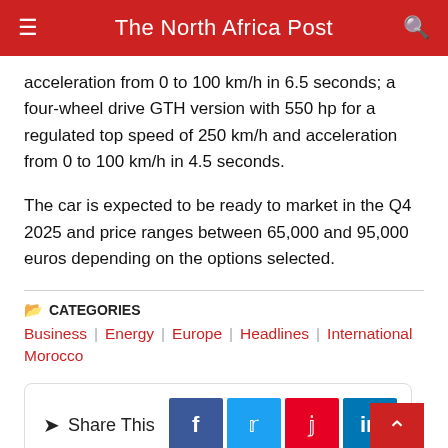The North Africa Post
acceleration from 0 to 100 km/h in 6.5 seconds; a four-wheel drive GTH version with 550 hp for a regulated top speed of 250 km/h and acceleration from 0 to 100 km/h in 4.5 seconds.
The car is expected to be ready to market in the Q4 2025 and price ranges between 65,000 and 95,000 euros depending on the options selected.
CATEGORIES
Business  Energy  Europe  Headlines  International
Morocco
Share This